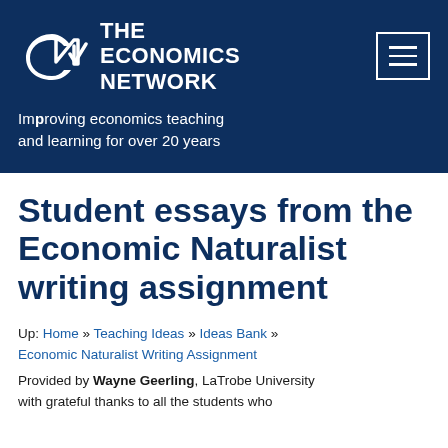[Figure (logo): The Economics Network logo with white EN monogram icon and white text reading THE ECONOMICS NETWORK on dark navy background, plus a hamburger menu icon in a white bordered box]
Improving economics teaching and learning for over 20 years
Student essays from the Economic Naturalist writing assignment
Up: Home » Teaching Ideas » Ideas Bank » Economic Naturalist Writing Assignment
Provided by Wayne Geerling, LaTrobe University with grateful thanks to all the students who